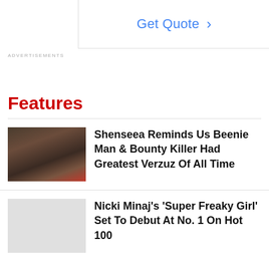[Figure (other): Advertisement box with Get Quote button and blue chevron arrow]
ADVERTISEMENTS
Features
[Figure (photo): Photo of Shenseea wearing sunglasses and jewelry]
Shenseea Reminds Us Beenie Man & Bounty Killer Had Greatest Verzuz Of All Time
Nicki Minaj's 'Super Freaky Girl' Set To Debut At No. 1 On Hot 100